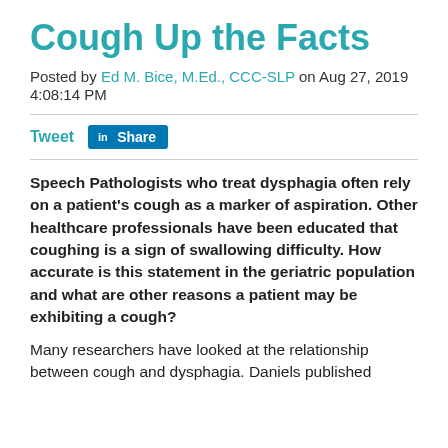Cough Up the Facts
Posted by Ed M. Bice, M.Ed., CCC-SLP on Aug 27, 2019 4:08:14 PM
Tweet  Share
Speech Pathologists who treat dysphagia often rely on a patient's cough as a marker of aspiration. Other healthcare professionals have been educated that coughing is a sign of swallowing difficulty. How accurate is this statement in the geriatric population and what are other reasons a patient may be exhibiting a cough?
Many researchers have looked at the relationship between cough and dysphagia. Daniels published